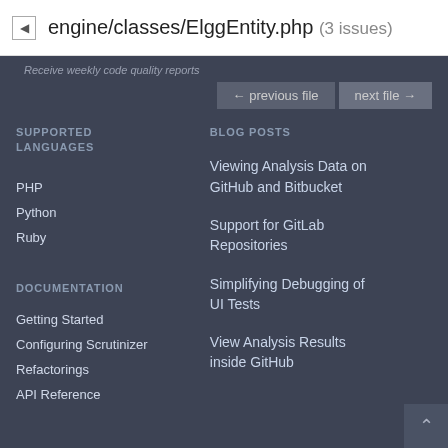engine/classes/ElggEntity.php (3 issues)
Receive weekly code quality reports
SUPPORTED LANGUAGES
BLOG POSTS
PHP
Python
Ruby
Viewing Analysis Data on GitHub and Bitbucket
Support for GitLab Repositories
Simplifying Debugging of UI Tests
View Analysis Results inside GitHub
DOCUMENTATION
Getting Started
Configuring Scrutinizer
Refactorings
API Reference